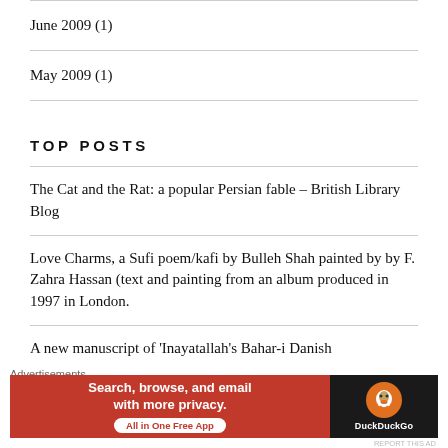June 2009 (1)
May 2009 (1)
TOP POSTS
The Cat and the Rat: a popular Persian fable – British Library Blog
Love Charms, a Sufi poem/kafi by Bulleh Shah painted by by F. Zahra Hassan (text and painting from an album produced in 1997 in London.
A new manuscript of 'Inayatallah's Bahar-i Danish
Advertisements
[Figure (other): DuckDuckGo advertisement banner: Search, browse, and email with more privacy. All in One Free App. DuckDuckGo logo on dark background.]